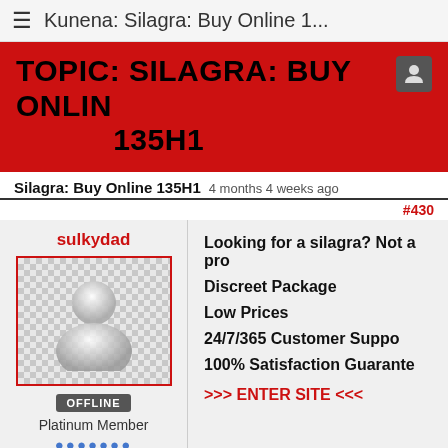≡  Kunena: Silagra: Buy Online 1...
TOPIC: SILAGRA: BUY ONLINE 135H1
Silagra: Buy Online 135H1  4 months 4 weeks ago
#430
sulkydad
[Figure (illustration): Default user avatar placeholder — grey silhouette of a person on a checkered background, enclosed in a red border]
OFFLINE
Platinum Member
Posts: 838
Looking for a silagra? Not a pro
Discreet Package
Low Prices
24/7/365 Customer Suppo
100% Satisfaction Guarante
>>> ENTER SITE <<<